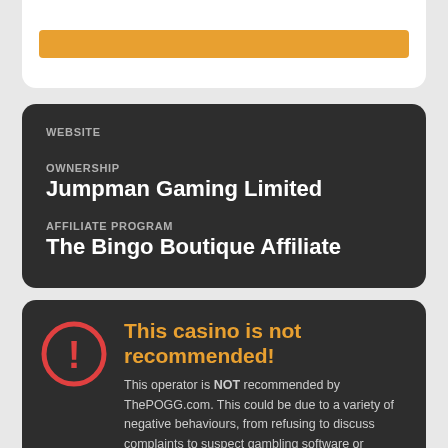[Figure (other): Orange horizontal bar inside a white rounded card at the top]
WEBSITE
OWNERSHIP
Jumpman Gaming Limited
AFFILIATE PROGRAM
The Bingo Boutique Affiliate
This casino is not recommended!
This operator is NOT recommended by ThePOGG.com. This could be due to a variety of negative behaviours, from refusing to discuss complaints to suspect gambling software or predatory terms and conditions. We would encourage players to consider alternative operators to